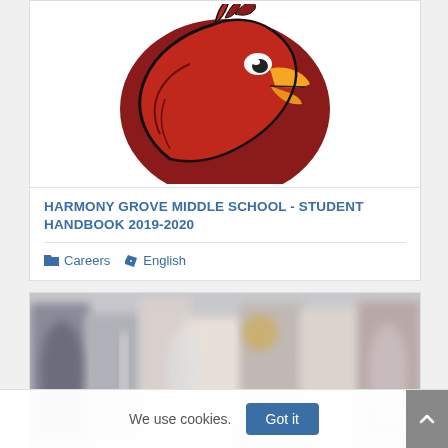[Figure (logo): Arizona Cardinals-style red cardinal bird mascot logo with dark red head, orange beak, black outline, and white eye markings. Logo for Harmony Grove Middle School.]
HARMONY GROVE MIDDLE SCHOOL - STUDENT HANDBOOK 2019-2020
Careers   English
[Figure (photo): Blurred/low-resolution photo of a school hallway or library with colorful letters in the background.]
We use cookies.
Got it